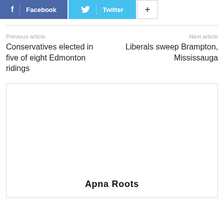[Figure (other): Social share buttons: Facebook (blue), Twitter (cyan), and a plus button (white with border)]
Previous article
Conservatives elected in five of eight Edmonton ridings
Next article
Liberals sweep Brampton, Mississauga
[Figure (other): Advertisement box with bold text 'Apna Roots' at the bottom center]